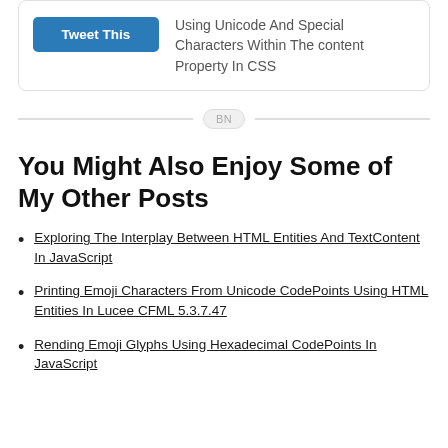[Figure (other): Tweet This button box with text: Using Unicode And Special Characters Within The content Property In CSS]
BN
You Might Also Enjoy Some of My Other Posts
Exploring The Interplay Between HTML Entities And TextContent In JavaScript
Printing Emoji Characters From Unicode CodePoints Using HTML Entities In Lucee CFML 5.3.7.47
Rending Emoji Glyphs Using Hexadecimal CodePoints In JavaScript